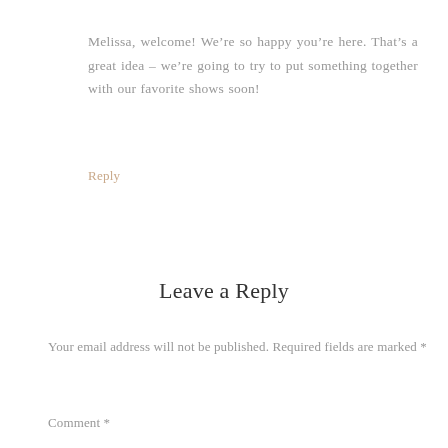Melissa, welcome! We’re so happy you’re here. That’s a great idea – we’re going to try to put something together with our favorite shows soon!
Reply
Leave a Reply
Your email address will not be published. Required fields are marked *
Comment *